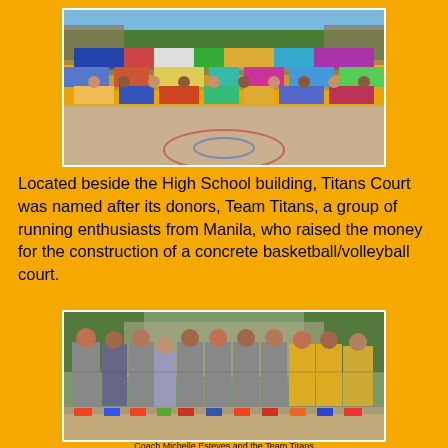[Figure (photo): Large group photo of students and community members gathered on a basketball court in front of a school building, with trees in the background.]
Located beside the High School building, Titans Court was named after its donors, Team Titans, a group of running enthusiasts from Manila, who raised the money for the construction of a concrete basketball/volleyball court.
[Figure (photo): Group photo of Team Titans members standing in a line outdoors, wearing athletic gear and making hand gestures, with trees and a building in the background.]
Coach Michelle Esteves and the Team Titans